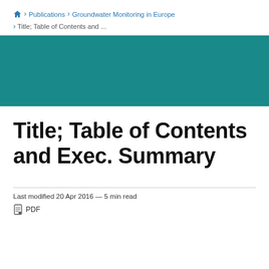🏠 > Publications > Groundwater Monitoring in Europe > Title; Table of Contents and ...
[Figure (illustration): Teal/dark cyan colored horizontal banner image]
Title; Table of Contents and Exec. Summary
Last modified 20 Apr 2016  —  5 min read
PDF